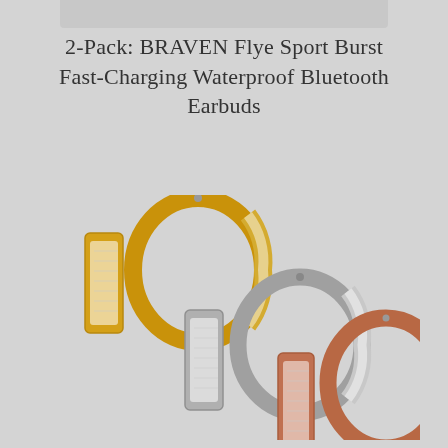2-Pack: BRAVEN Flye Sport Burst Fast-Charging Waterproof Bluetooth Earbuds
[Figure (photo): Three pairs of hoop earrings with crystal/diamond embellishments arranged overlapping: gold pair (top left), silver pair (center), and rose gold pair (bottom right)]